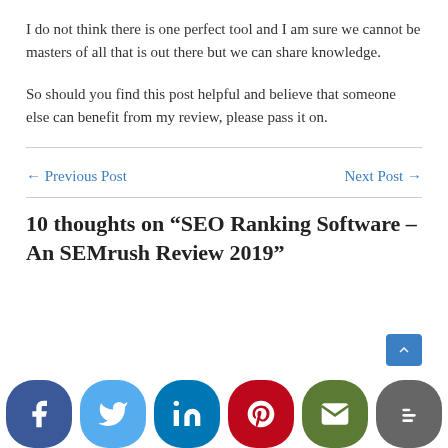I do not think there is one perfect tool and I am sure we cannot be masters of all that is out there but we can share knowledge.
So should you find this post helpful and believe that someone else can benefit from my review, please pass it on.
← Previous Post
Next Post →
10 thoughts on “SEO Ranking Software – An SEMrush Review 2019”
[Figure (infographic): Social media share buttons bar at the bottom: Facebook (dark blue), Twitter (light blue), LinkedIn (dark teal), Pinterest (red), Email (green), Blogger (grey)]